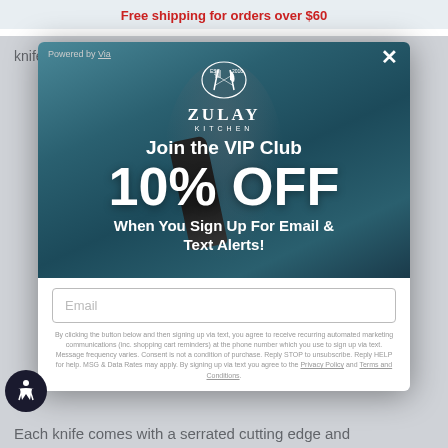Free shipping for orders over $60
knife set is designed to start off young cooks who have
[Figure (screenshot): Modal popup overlay showing Zulay Kitchen VIP Club signup. Dark teal background with a blurred person holding a kitchen tool. Logo with crossed utensils, text: 'Join the VIP Club', '10% OFF', 'When You Sign Up For Email & Text Alerts!', email input field, legal disclaimer text with Privacy Policy and Terms and Conditions links. Powered by Via label top-left, X close button top-right.]
Each knife comes with a serrated cutting edge and